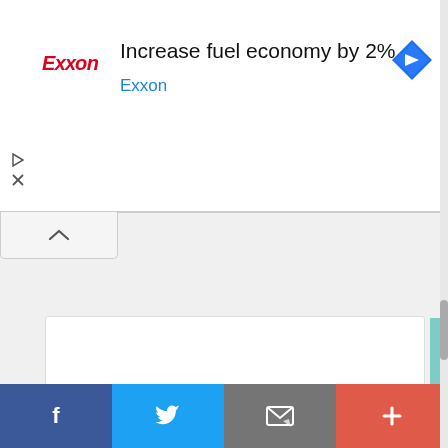[Figure (screenshot): Exxon advertisement banner showing 'Increase fuel economy by 2%' with Exxon logo in red italic text and a blue navigation/map icon on the right.]
Please click on each link below to watch the video
Justification For Hindu Caste System
This website uses cookies to ensure you get the best experience on our website.
Got it!
[Figure (screenshot): Social sharing bar with Facebook, Twitter, email/envelope icon, and plus buttons at the bottom of the page.]